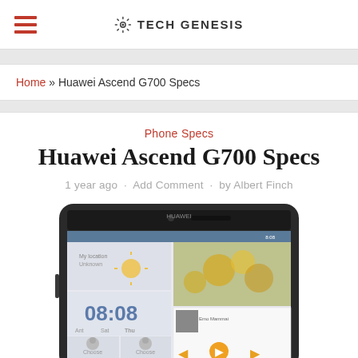TECH GENESIS
Home » Huawei Ascend G700 Specs
Phone Specs
Huawei Ascend G700 Specs
1 year ago · Add Comment · by Albert Finch
[Figure (photo): Huawei Ascend G700 smartphone front view showing the home screen with time 08:08, weather widget, music player and gallery tiles]